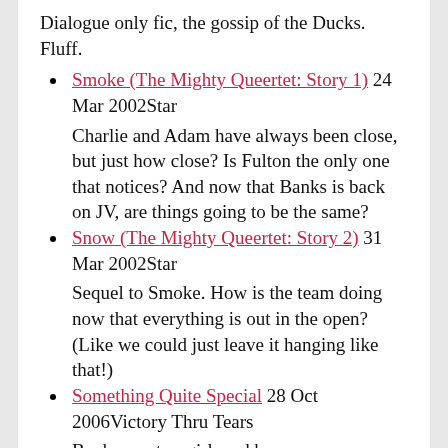Dialogue only fic, the gossip of the Ducks. Fluff.
Smoke (The Mighty Queertet: Story 1) 24 Mar 2002Star
Charlie and Adam have always been close, but just how close? Is Fulton the only one that notices? And now that Banks is back on JV, are things going to be the same?
Snow (The Mighty Queertet: Story 2) 31 Mar 2002Star
Sequel to Smoke. How is the team doing now that everything is out in the open? (Like we could just leave it hanging like that!)
Something Quite Special 28 Oct 2006Victory Thru Tears
Banks meets a girl, and becomes a very different person during and after their